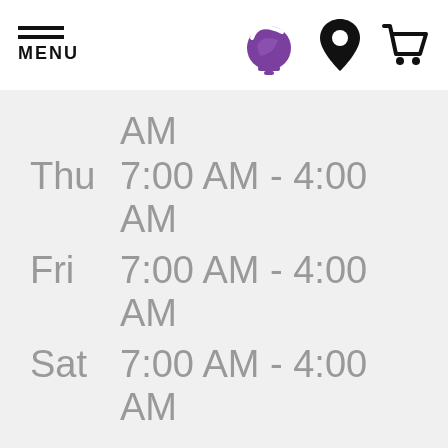[Figure (logo): Taco Bell website header with hamburger menu icon labeled MENU, Taco Bell logo (purple bell), location pin icon, and shopping cart icon]
| Day | Hours |
| --- | --- |
| Thu | 7:00 AM - 4:00 AM |
| Fri | 7:00 AM - 4:00 AM |
| Sat | 7:00 AM - 4:00 AM |